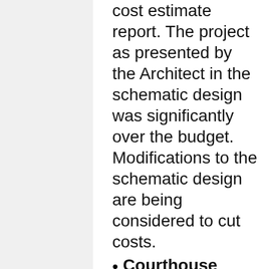cost estimate report. The project as presented by the Architect in the schematic design was significantly over the budget. Modifications to the schematic design are being considered to cut costs.
Courthouse Annex: The new HVAC unit is to be installed around August 10 or 11.
Animal Shelter: We received the detailed cost estimate report. The project as presented by the Architect in the schematic design was significantly over the budget. Modifications to the